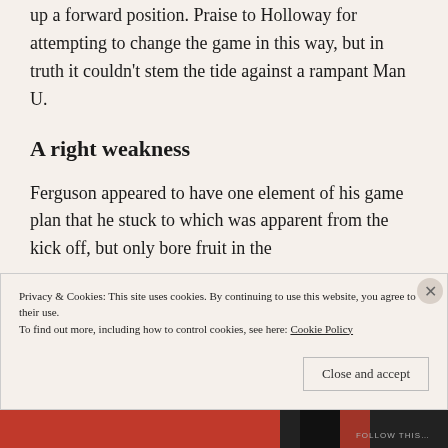up a forward position. Praise to Holloway for attempting to change the game in this way, but in truth it couldn't stem the tide against a rampant Man U.
A right weakness
Ferguson appeared to have one element of his game plan that he stuck to which was apparent from the kick off, but only bore fruit in the
Privacy & Cookies: This site uses cookies. By continuing to use this website, you agree to their use.
To find out more, including how to control cookies, see here: Cookie Policy
Close and accept